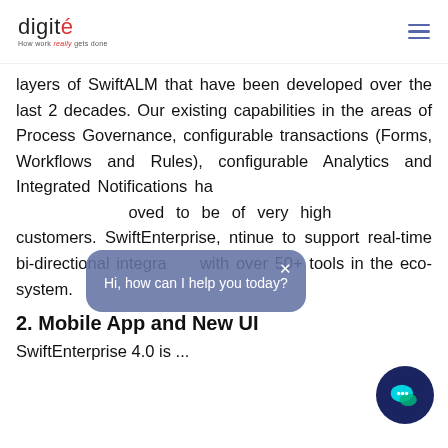digité — How work really gets done
layers of SwiftALM that have been developed over the last 2 decades. Our existing capabilities in the areas of Process Governance, configurable transactions (Forms, Workflows and Rules), configurable Analytics and Integrated Notifications have proved to be of very high value to our customers. SwiftEnterprise, will continue to support real-time bi-directional integration with over 50+ tools in the eco-system.
2. Mobile App and New UI
SwiftEnterprise 4.0 is ...